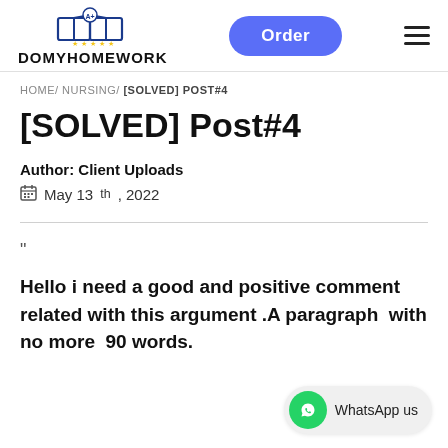[Figure (logo): DoMyHomework logo with open book and A+ icon above text DOMYHOMEWORK]
HOME/ NURSING/ [SOLVED] POST#4
[SOLVED] Post#4
Author: Client Uploads
May 13th, 2022
“
Hello i need a good and positive comment related with this argument .A paragraph  with no more  90 words.